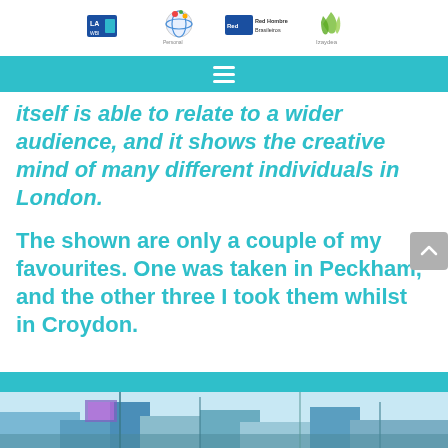[Logos: LA WBI, Personal/world, Red Hombre Brasileiros, Izaydea]
itself is able to relate to a wider audience, and it shows the creative mind of many different individuals in London.

The shown are only a couple of my favourites. One was taken in Peckham, and the other three I took them whilst in Croydon.
[Figure (photo): Bottom strip showing a partial outdoor photograph with blue/cyan tones, appearing to show street art or urban scene in Croydon or Peckham]